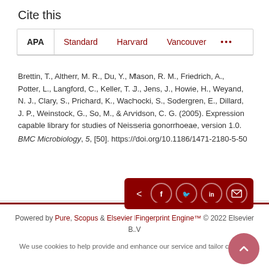Cite this
APA | Standard | Harvard | Vancouver | ...
Brettin, T., Altherr, M. R., Du, Y., Mason, R. M., Friedrich, A., Potter, L., Langford, C., Keller, T. J., Jens, J., Howie, H., Weyand, N. J., Clary, S., Prichard, K., Wachocki, S., Sodergren, E., Dillard, J. P., Weinstock, G., So, M., & Arvidson, C. G. (2005). Expression capable library for studies of Neisseria gonorrhoeae, version 1.0. BMC Microbiology, 5, [50]. https://doi.org/10.1186/1471-2180-5-50
[Figure (infographic): Social share buttons bar with icons for share, Facebook, Twitter, LinkedIn, and email on dark red background]
Powered by Pure, Scopus & Elsevier Fingerprint Engine™ © 2022 Elsevier B.V
We use cookies to help provide and enhance our service and tailor content.